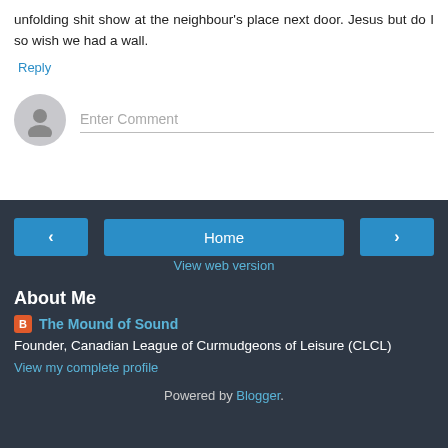unfolding shit show at the neighbour's place next door. Jesus but do I so wish we had a wall.
Reply
Enter Comment
Home
View web version
About Me
The Mound of Sound
Founder, Canadian League of Curmudgeons of Leisure (CLCL)
View my complete profile
Powered by Blogger.